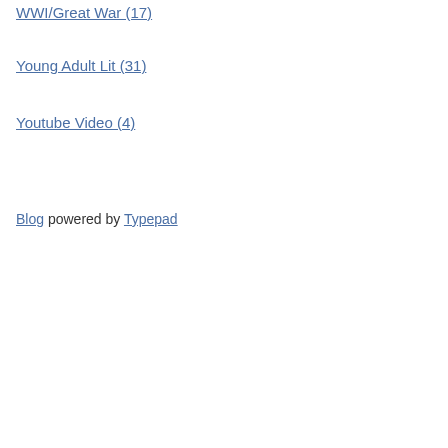WWI/Great War (17)
Young Adult Lit (31)
Youtube Video (4)
Blog powered by Typepad